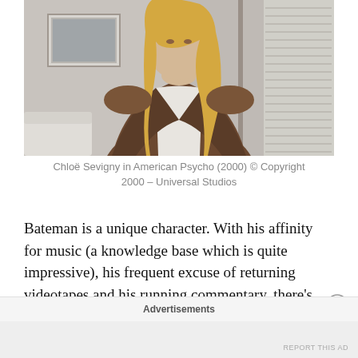[Figure (photo): Chloë Sevigny in a brown jacket over a white blouse, standing indoors with a framed picture on the wall and venetian blinds visible in the background. Scene appears to be from American Psycho (2000).]
Chloë Sevigny in American Psycho (2000) © Copyright 2000 – Universal Studios
Bateman is a unique character. With his affinity for music (a knowledge base which is quite impressive), his frequent excuse of returning videotapes and his running commentary, there's a lot of comical moments throughout the film that makes it worthy of its cult following. "American Psycho" is regarded as a classic,
Advertisements